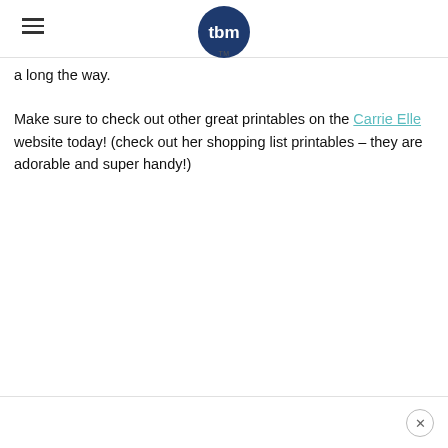tbm TM
a long the way.
Make sure to check out other great printables on the Carrie Elle website today! (check out her shopping list printables – they are adorable and super handy!)